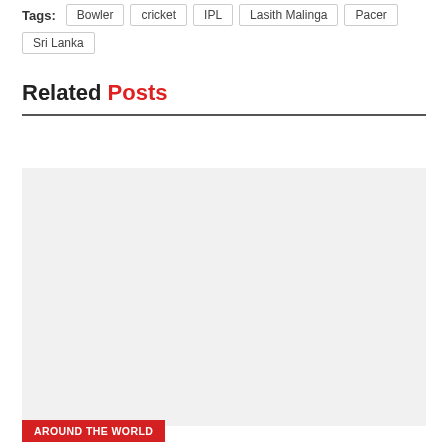Tags: Bowler  cricket  IPL  Lasith Malinga  Pacer  Sri Lanka
Related Posts
[Figure (photo): A large light-gray placeholder image for a related post thumbnail]
AROUND THE WORLD